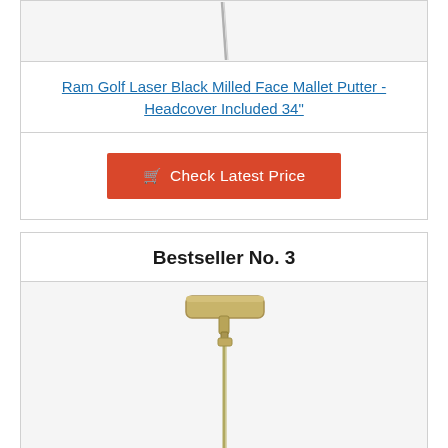[Figure (photo): Partial view of a golf putter shaft (top portion cut off), showing a thin metallic shaft against a light grey background]
Ram Golf Laser Black Milled Face Mallet Putter - Headcover Included 34"
Check Latest Price
Bestseller No. 3
[Figure (photo): A gold/champagne colored blade-style golf putter with a traditional head design, shown against a light grey background]